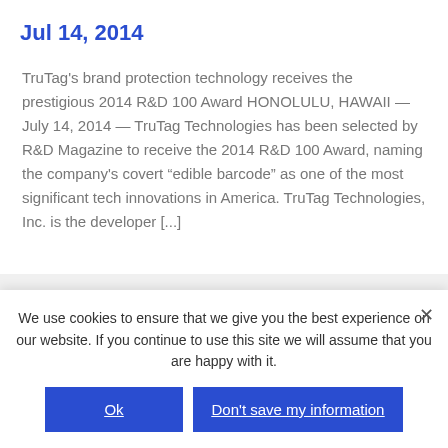Jul 14, 2014
TruTag's brand protection technology receives the prestigious 2014 R&D 100 Award HONOLULU, HAWAII — July 14, 2014 — TruTag Technologies has been selected by R&D Magazine to receive the 2014 R&D 100 Award, naming the company's covert “edible barcode” as one of the most significant tech innovations in America. TruTag Technologies, Inc. is the developer [...]
We use cookies to ensure that we give you the best experience on our website. If you continue to use this site we will assume that you are happy with it.
Ok
Don't save my information